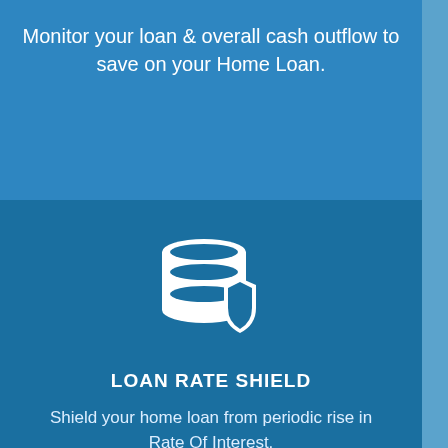Monitor your loan & overall cash outflow to save on your Home Loan.
[Figure (illustration): White icon of a database/stack of discs with a shield overlay, on a dark blue background]
LOAN RATE SHIELD
Shield your home loan from periodic rise in Rate Of Interest.